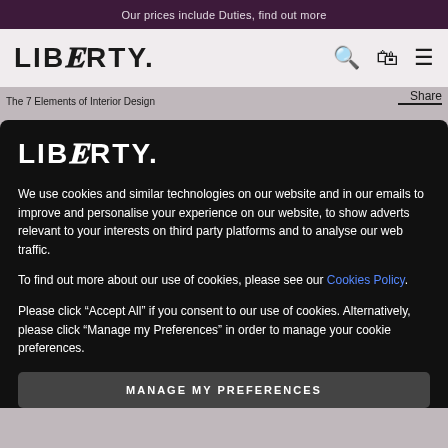Our prices include Duties, find out more
[Figure (logo): Liberty. logo in navigation bar with search, bag and menu icons]
The 7 Elements of Interior Design
Share
GENEVIEVE BENNETT ON
THE 7 ELEMENTS OF
[Figure (screenshot): Cookie consent overlay with Liberty logo, cookie policy text, and Manage My Preferences button]
LIBERTY.
We use cookies and similar technologies on our website and in our emails to improve and personalise your experience on our website, to show adverts relevant to your interests on third party platforms and to analyse our web traffic.
To find out more about our use of cookies, please see our Cookies Policy.
Please click “Accept All” if you consent to our use of cookies. Alternatively, please click “Manage my Preferences” in order to manage your cookie preferences.
MANAGE MY PREFERENCES